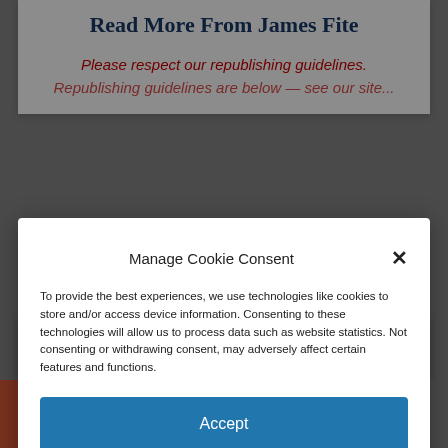Read More From James Fite
Please respect our republishing guidelines.
Watch Now
Manage Cookie Consent
To provide the best experiences, we use technologies like cookies to store and/or access device information. Consenting to these technologies will allow us to process data such as website statistics. Not consenting or withdrawing consent, may adversely affect certain features and functions.
Accept
Cookie Policy  Privacy Policy